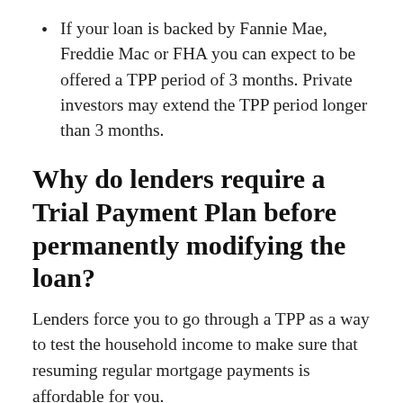If your loan is backed by Fannie Mae, Freddie Mac or FHA you can expect to be offered a TPP period of 3 months. Private investors may extend the TPP period longer than 3 months.
Why do lenders require a Trial Payment Plan before permanently modifying the loan?
Lenders force you to go through a TPP as a way to test the household income to make sure that resuming regular mortgage payments is affordable for you.
Lenders do not want to go through the process